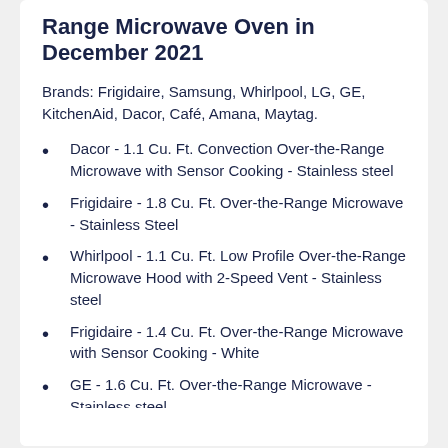Range Microwave Oven in December 2021
Brands: Frigidaire, Samsung, Whirlpool, LG, GE, KitchenAid, Dacor, Café, Amana, Maytag.
Dacor - 1.1 Cu. Ft. Convection Over-the-Range Microwave with Sensor Cooking - Stainless steel
Frigidaire - 1.8 Cu. Ft. Over-the-Range Microwave - Stainless Steel
Whirlpool - 1.1 Cu. Ft. Low Profile Over-the-Range Microwave Hood with 2-Speed Vent - Stainless steel
Frigidaire - 1.4 Cu. Ft. Over-the-Range Microwave with Sensor Cooking - White
GE - 1.6 Cu. Ft. Over-the-Range Microwave - Stainless steel